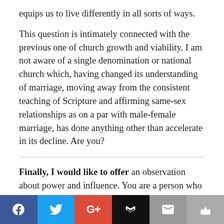equips us to live differently in all sorts of ways.
This question is intimately connected with the previous one of church growth and viability. I am not aware of a single denomination or national church which, having changed its understanding of marriage, moving away from the consistent teaching of Scripture and affirming same-sex relationships as on a par with male-female marriage, has done anything other than accelerate in its decline. Are you?
Finally, I would like to offer an observation about power and influence. You are a person who exercises considerable power—not the 'hard', institutional power